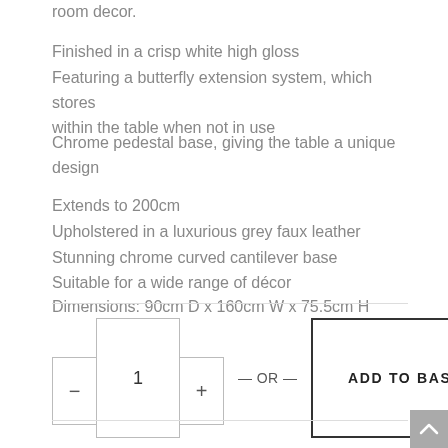room decor.
Finished in a crisp white high gloss
Featuring a butterfly extension system, which stores within the table when not in use
Chrome pedestal base, giving the table a unique design
Extends to 200cm
Upholstered in a luxurious grey faux leather
Stunning chrome curved cantilever base
Suitable for a wide range of décor
Dimensions: 90cm D x 160cm W x 75.5cm H